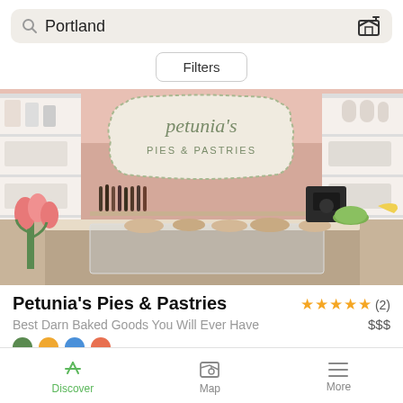Portland
Filters
[Figure (photo): Interior photo of Petunia's Pies & Pastries bakery showing display cases with pastries, bottles on shelves, pink tulips in foreground, and the Petunia's Pies & Pastries sign on a pink wall]
Petunia's Pies & Pastries
★★★★★ (2)
Best Darn Baked Goods You Will Ever Have
$$$
Discover   Map   More